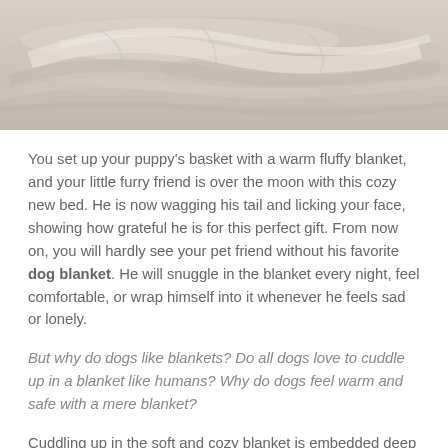[Figure (photo): Close-up photo of a soft, fluffy cream/beige blanket with folds and texture visible]
You set up your puppy's basket with a warm fluffy blanket, and your little furry friend is over the moon with this cozy new bed. He is now wagging his tail and licking your face, showing how grateful he is for this perfect gift. From now on, you will hardly see your pet friend without his favorite dog blanket. He will snuggle in the blanket every night, feel comfortable, or wrap himself into it whenever he feels sad or lonely.
But why do dogs like blankets? Do all dogs love to cuddle up in a blanket like humans? Why do dogs feel warm and safe with a mere blanket?
Cuddling up in the soft and cozy blanket is embedded deep into a dog's nature and has both psychological and